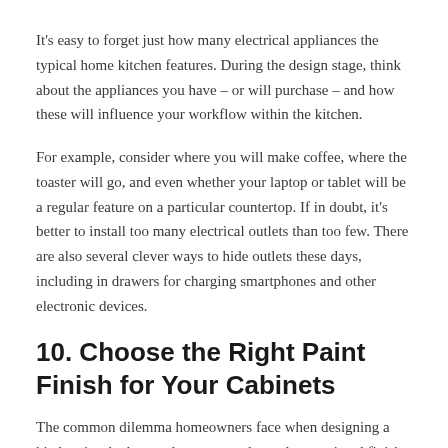It's easy to forget just how many electrical appliances the typical home kitchen features. During the design stage, think about the appliances you have – or will purchase – and how these will influence your workflow within the kitchen.
For example, consider where you will make coffee, where the toaster will go, and even whether your laptop or tablet will be a regular feature on a particular countertop. If in doubt, it's better to install too many electrical outlets than too few. There are also several clever ways to hide outlets these days, including in drawers for charging smartphones and other electronic devices.
10. Choose the Right Paint Finish for Your Cabinets
The common dilemma homeowners face when designing a kitchen is whether to choose natural wood or a painted finish for the cabinets. As the cabinet doors collectively take up a large surface area, they make quite a visual impact on the